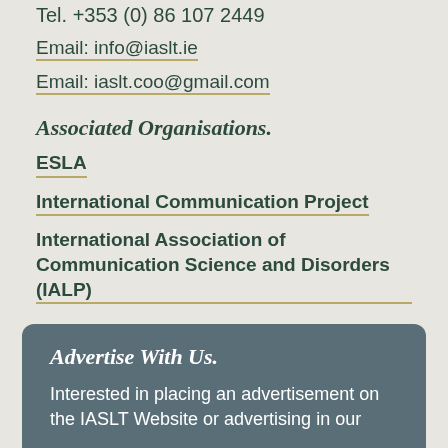Tel. +353 (0) 86 107 2449
Email: info@iaslt.ie
Email: iaslt.coo@gmail.com
Associated Organisations.
ESLA
International Communication Project
International Association of Communication Science and Disorders (IALP)
Advertise With Us.
Interested in placing an advertisement on the IASLT Website or advertising in our